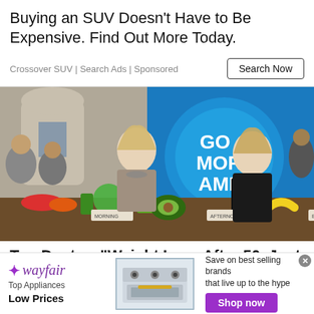Buying an SUV Doesn't Have to Be Expensive. Find Out More Today.
Crossover SUV | Search Ads | Sponsored
[Figure (photo): TV show set with two women hosts standing behind a counter with food, with a blue GMA (Good Morning America) logo screen in background and audience members visible]
Top Doctor: "Weight Loss After 50, Just
[Figure (infographic): Wayfair advertisement banner: logo on left with 'Top Appliances Low Prices', image of a stove in center, and 'Save on best selling brands that live up to the hype - Shop now' on right]